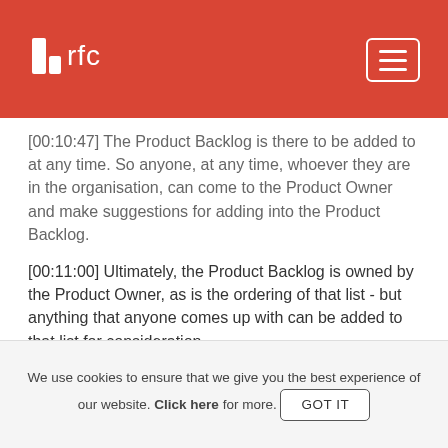rfc
[00:10:47] The Product Backlog is there to be added to at any time. So anyone, at any time, whoever they are in the organisation, can come to the Product Owner and make suggestions for adding into the Product Backlog.
[00:11:00] Ultimately, the Product Backlog is owned by the Product Owner, as is the ordering of that list - but anything that anyone comes up with can be added to that list for consideration.
[00:11:15] So let's move on to the Sprint Backlog.
[00:11:17] So this was created during the Sprint Planning.
[00:11:19] So it's those items have been taken from the Product Backlog and agreed by the team and the Product
We use cookies to ensure that we give you the best experience of our website. Click here for more. GOT IT